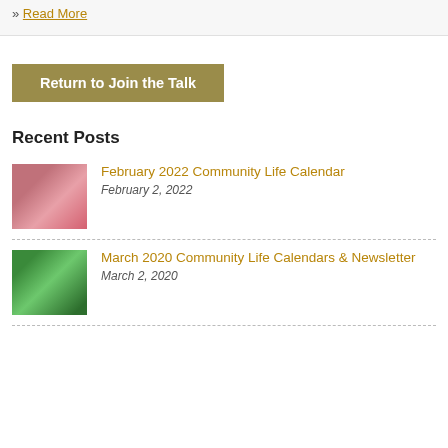» Read More
Return to Join the Talk
Recent Posts
February 2022 Community Life Calendar
February 2, 2022
March 2020 Community Life Calendars & Newsletter
March 2, 2020